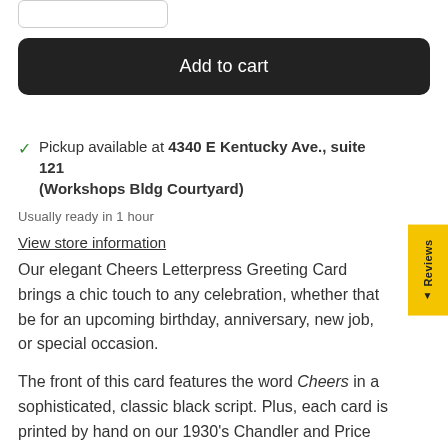[Figure (screenshot): Input box / quantity selector at top left]
Add to cart
✓ Pickup available at 4340 E Kentucky Ave., suite 121 (Workshops Bldg Courtyard)
Usually ready in 1 hour
View store information
Our elegant Cheers Letterpress Greeting Card brings a chic touch to any celebration, whether that be for an upcoming birthday, anniversary, new job, or special occasion.
The front of this card features the word Cheers in a sophisticated, classic black script. Plus, each card is printed by hand on our 1930's Chandler and Price